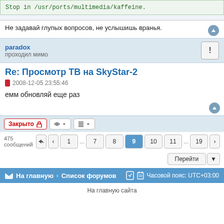Stop in /usr/ports/multimedia/kaffeine.
Не задавай глупых вопросов, не услышишь вранья.
paradox
проходил мимо
Re: Просмотр ТВ на SkyStar-2
2008-12-05 23:55:46
емм обновляй еще раз
Закрыто | 475 сообщений | 1 ... 7 8 9 10 11 ... 19
На главную · Список форумов · Часовой пояс: UTC+03:00
На главную сайта